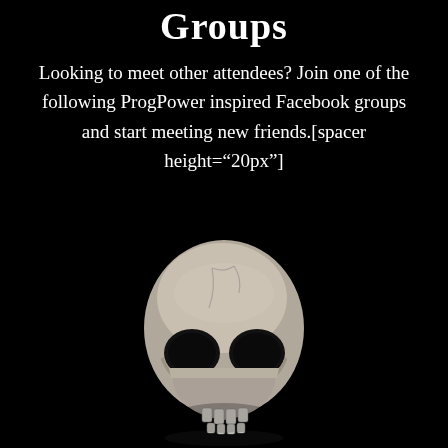Groups
Looking to meet other attendees? Join one of the following ProgPower inspired Facebook groups and start meeting new friends.[spacer height="20px"]
[Figure (photo): A realistic human skull rendered in grey tones against a black background, viewed from the front, with visible cracks on the cranium and teeth at the bottom.]